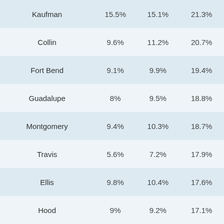| Kaufman | 15.5% | 15.1% | 21.3% |
| Collin | 9.6% | 11.2% | 20.7% |
| Fort Bend | 9.1% | 9.9% | 19.4% |
| Guadalupe | 8% | 9.5% | 18.8% |
| Montgomery | 9.4% | 10.3% | 18.7% |
| Travis | 5.6% | 7.2% | 17.9% |
| Ellis | 9.8% | 10.4% | 17.6% |
| Hood | 9% | 9.2% | 17.1% |
| Wise | 8.5% | 8.9% | 16.8% |
| Bell | 6.4% | 7% | 15.8% |
| Hidalgo | 2.3% | 4.3% | 15.6% |
| Bastrop | 7.4% | 7.8% | 15.4% |